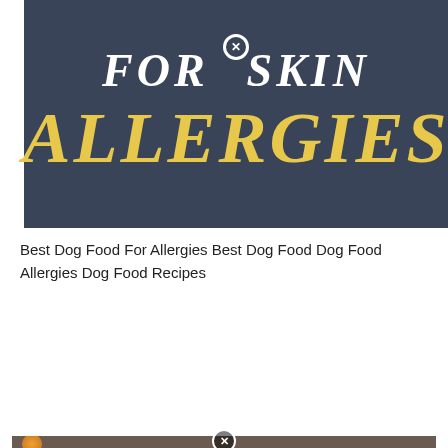[Figure (illustration): Dark blue-grey banner with white bold italic text 'FOR SKIN' on top line with a circled X symbol, and large golden/yellow bold italic text 'ALLERGIES' below]
Best Dog Food For Allergies Best Dog Food Dog Food Allergies Dog Food Recipes
[Figure (illustration): Dark grey banner with white bold text 'Best Dog Food For', red bold text 'Skin Allergies', and white bold text 'In 2020']
[Figure (photo): Partial photo strip at the bottom with a circled X symbol in the center]